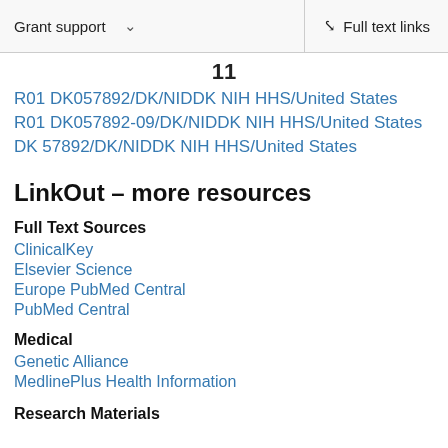Grant support   ∨   Full text links
11
R01 DK057892/DK/NIDDK NIH HHS/United States
R01 DK057892-09/DK/NIDDK NIH HHS/United States
DK 57892/DK/NIDDK NIH HHS/United States
LinkOut – more resources
Full Text Sources
ClinicalKey
Elsevier Science
Europe PubMed Central
PubMed Central
Medical
Genetic Alliance
MedlinePlus Health Information
Research Materials